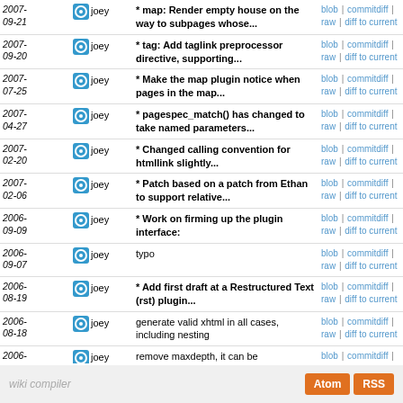| Date | User | Message | Links |
| --- | --- | --- | --- |
| 2007-09-21 | joey | * map: Render empty house on the way to subpages whose... | blob | commitdiff | raw | diff to current |
| 2007-09-20 | joey | * tag: Add taglink preprocessor directive, supporting... | blob | commitdiff | raw | diff to current |
| 2007-07-25 | joey | * Make the map plugin notice when pages in the map... | blob | commitdiff | raw | diff to current |
| 2007-04-27 | joey | * pagespec_match() has changed to take named parameters... | blob | commitdiff | raw | diff to current |
| 2007-02-20 | joey | * Changed calling convention for htmllink slightly... | blob | commitdiff | raw | diff to current |
| 2007-02-06 | joey | * Patch based on a patch from Ethan to support relative... | blob | commitdiff | raw | diff to current |
| 2006-09-09 | joey | * Work on firming up the plugin interface: | blob | commitdiff | raw | diff to current |
| 2006-09-07 | joey | typo | blob | commitdiff | raw | diff to current |
| 2006-08-19 | joey | * Add first draft at a Restructured Text (rst) plugin... | blob | commitdiff | raw | diff to current |
| 2006-08-18 | joey | generate valid xhtml in all cases, including nesting | blob | commitdiff | raw | diff to current |
| 2006-08-18 | joey | remove maxdepth, it can be accomplished by pagespec... | blob | commitdiff | raw | diff to current |
| 2006-08-18 | joey | * Add a map plugin contributed by Alessandro Dotti Contra. | blob | commitdiff | raw | diff to current |
wiki compiler   Atom   RSS